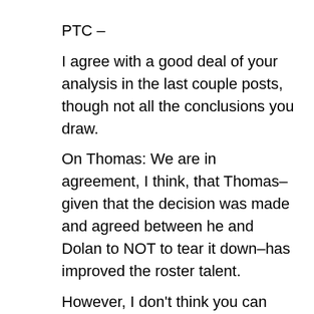PTC –
I agree with a good deal of your analysis in the last couple posts, though not all the conclusions you draw.
On Thomas: We are in agreement, I think, that Thomas–given that the decision was made and agreed between he and Dolan to NOT to tear it down–has improved the roster talent.
However, I don't think you can stop there. (I'm conceding that may have been the parameters of the debate. I'm speaking in a broader sense.) Just because you get the most talent in each individual trade